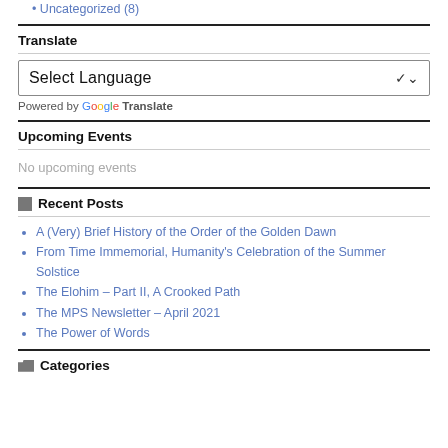Uncategorized (8)
Translate
Select Language
Powered by Google Translate
Upcoming Events
No upcoming events
Recent Posts
A (Very) Brief History of the Order of the Golden Dawn
From Time Immemorial, Humanity's Celebration of the Summer Solstice
The Elohim – Part II, A Crooked Path
The MPS Newsletter – April 2021
The Power of Words
Categories